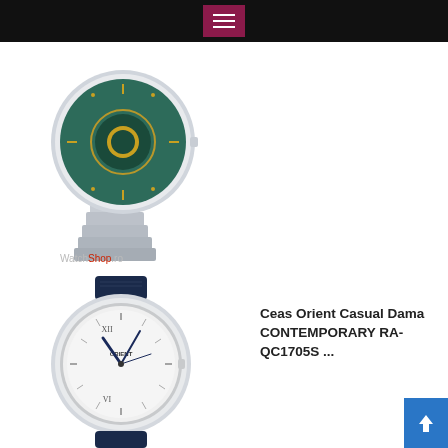[Figure (photo): Top navigation bar with hamburger menu icon in dark maroon/purple box on black background]
[Figure (photo): Orient watch with green/teal dial, moon phase complication, silver bracelet, WatchShop watermark]
[Figure (photo): Orient Casual Dama Contemporary RA-QC1705S watch with white dial, blue hands, navy leather strap]
Ceas Orient Casual Dama CONTEMPORARY RA-QC1705S ...